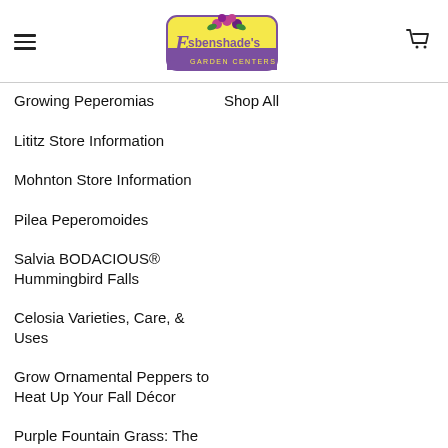Esbenshade's Garden Centers
Growing Peperomias
Shop All
Lititz Store Information
Mohnton Store Information
Pilea Peperomoides
Salvia BODACIOUS® Hummingbird Falls
Celosia Varieties, Care, & Uses
Grow Ornamental Peppers to Heat Up Your Fall Décor
Purple Fountain Grass: The plant, the care and the inspiration.
Late Summer into Fall Bloomers